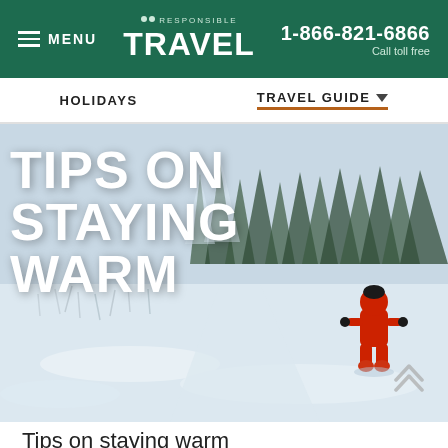MENU | RESPONSIBLE TRAVEL | 1-866-821-6866 Call toll free
HOLIDAYS | TRAVEL GUIDE
[Figure (photo): Winter snow scene with a child in a red snowsuit walking away through a snowy landscape with frost-covered trees in the background. Text overlay reads TIPS ON STAYING WARM in large white bold type.]
Tips on staying warm
RECENTLY VIEWED
of specialist Finland